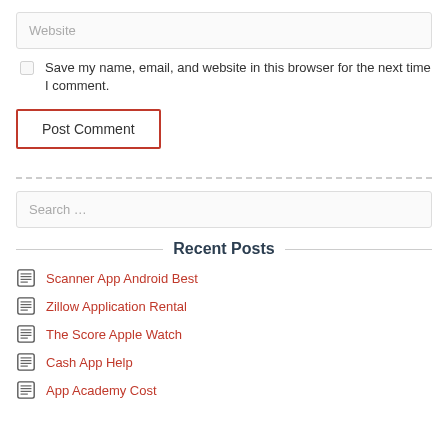Website (input field placeholder)
Save my name, email, and website in this browser for the next time I comment.
Post Comment (button)
Search … (input field placeholder)
Recent Posts
Scanner App Android Best
Zillow Application Rental
The Score Apple Watch
Cash App Help
App Academy Cost